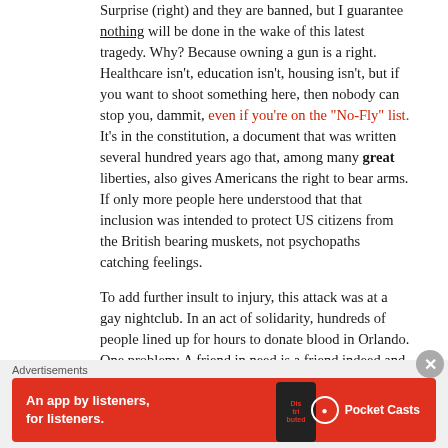Surprise (right) and they are banned, but I guarantee nothing will be done in the wake of this latest tragedy. Why? Because owning a gun is a right. Healthcare isn't, education isn't, housing isn't, but if you want to shoot something here, then nobody can stop you, dammit, even if you're on the "No-Fly" list. It's in the constitution, a document that was written several hundred years ago that, among many great liberties, also gives Americans the right to bear arms. If only more people here understood that that inclusion was intended to protect US citizens from the British bearing muskets, not psychopaths catching feelings.

To add further insult to injury, this attack was at a gay nightclub. In an act of solidarity, hundreds of people lined up for hours to donate blood in Orlando. One problem: A friend in need is a friend indeed and
[Figure (infographic): Red advertisement banner for Pocket Casts app: 'An app by listeners, for listeners.' with Pocket Casts logo and phone image]